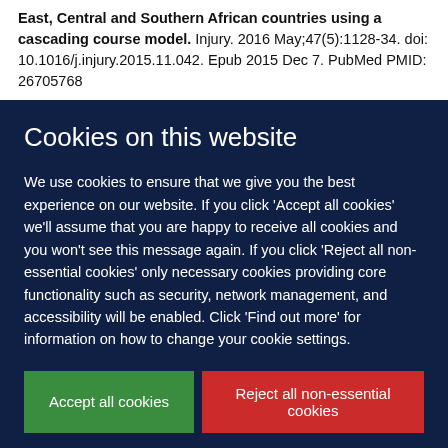East, Central and Southern African countries using a cascading course model. Injury. 2016 May;47(5):1128-34. doi: 10.1016/j.injury.2015.11.042. Epub 2015 Dec 7. PubMed PMID: 26705768
Cookies on this website
We use cookies to ensure that we give you the best experience on our website. If you click 'Accept all cookies' we'll assume that you are happy to receive all cookies and you won't see this message again. If you click 'Reject all non-essential cookies' only necessary cookies providing core functionality such as security, network management, and accessibility will be enabled. Click 'Find out more' for information on how to change your cookie settings.